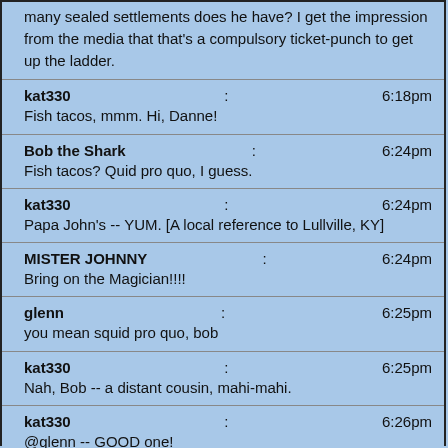many sealed settlements does he have? I get the impression from the media that that's a compulsory ticket-punch to get up the ladder.
kat330: 6:18pm
Fish tacos, mmm. Hi, Danne!
Bob the Shark: 6:24pm
Fish tacos? Quid pro quo, I guess.
kat330: 6:24pm
Papa John's -- YUM. [A local reference to Lullville, KY]
MISTER JOHNNY: 6:24pm
Bring on the Magician!!!!
glenn: 6:25pm
you mean squid pro quo, bob
kat330: 6:25pm
Nah, Bob -- a distant cousin, mahi-mahi.
kat330: 6:26pm
@glenn -- GOOD one!
glenn: 6:26pm